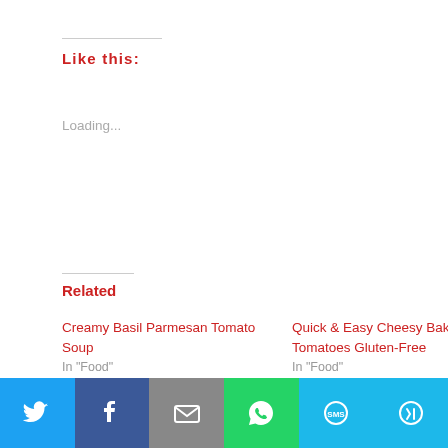Like this:
Loading...
Related
Creamy Basil Parmesan Tomato Soup
In "Food"
Quick & Easy Cheesy Baked Tomatoes Gluten-Free
In "Food"
Savory Shakshuka, Eggs Poached in Spicy Tomato Sauce
In "Food"
Twitter | Facebook | Email | WhatsApp | SMS | More